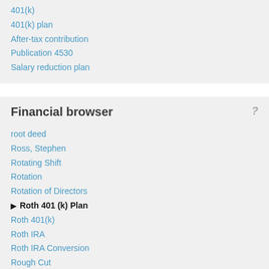401(k)
401(k) plan
After-tax contribution
Publication 4530
Salary reduction plan
Financial browser
root deed
Ross, Stephen
Rotating Shift
Rotation
Rotation of Directors
▶ Roth 401 (k) Plan
Roth 401(k)
Roth IRA
Roth IRA Conversion
Rough Cut
Round lot
round trip